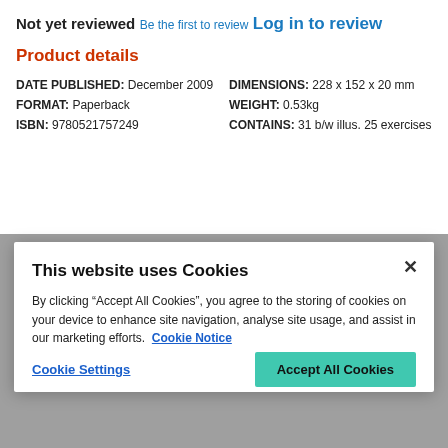Not yet reviewed
Be the first to review
Log in to review
Product details
| DATE PUBLISHED: | December 2009 | DIMENSIONS: | 228 x 152 x 20 mm |
| FORMAT: | Paperback | WEIGHT: | 0.53kg |
| ISBN: | 9780521757249 | CONTAINS: | 31 b/w illus. 25 exercises |
This website uses Cookies
By clicking “Accept All Cookies”, you agree to the storing of cookies on your device to enhance site navigation, analyse site usage, and assist in our marketing efforts. Cookie Notice
Cookie Settings
Accept All Cookies